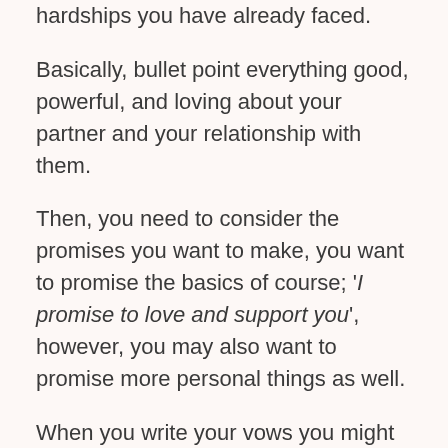hardships you have already faced.
Basically, bullet point everything good, powerful, and loving about your partner and your relationship with them.
Then, you need to consider the promises you want to make, you want to promise the basics of course; ‘I promise to love and support you’, however, you may also want to promise more personal things as well.
When you write your vows you might want to create an outline.
You could start off by stating your love, then offer your promises, and then finish